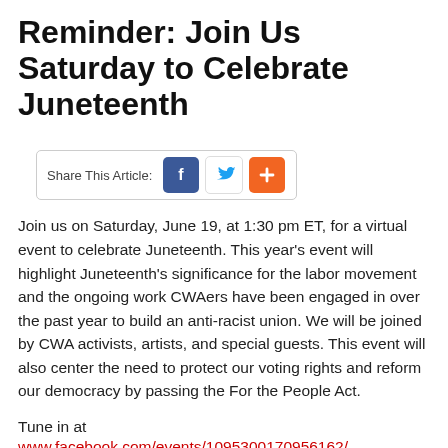Reminder: Join Us Saturday to Celebrate Juneteenth
[Figure (other): Share This Article buttons: Facebook, Twitter, and Add (+) social share icons]
Join us on Saturday, June 19, at 1:30 pm ET, for a virtual event to celebrate Juneteenth. This year's event will highlight Juneteenth's significance for the labor movement and the ongoing work CWAers have been engaged in over the past year to build an anti-racist union. We will be joined by CWA activists, artists, and special guests. This event will also center the need to protect our voting rights and reform our democracy by passing the For the People Act.
Tune in at www.facebook.com/events/1095300170956162/.